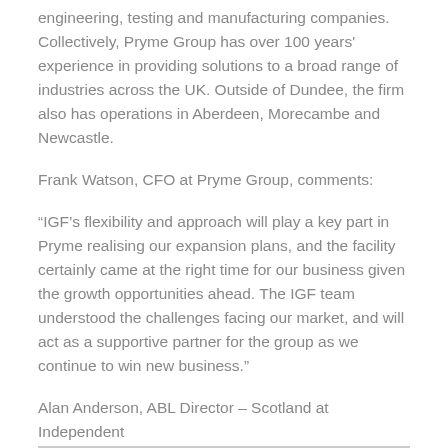engineering, testing and manufacturing companies. Collectively, Pryme Group has over 100 years' experience in providing solutions to a broad range of industries across the UK. Outside of Dundee, the firm also has operations in Aberdeen, Morecambe and Newcastle.
Frank Watson, CFO at Pryme Group, comments:
“IGF’s flexibility and approach will play a key part in Pryme realising our expansion plans, and the facility certainly came at the right time for our business given the growth opportunities ahead. The IGF team understood the challenges facing our market, and will act as a supportive partner for the group as we continue to win new business.”
Alan Anderson, ABL Director – Scotland at Independent